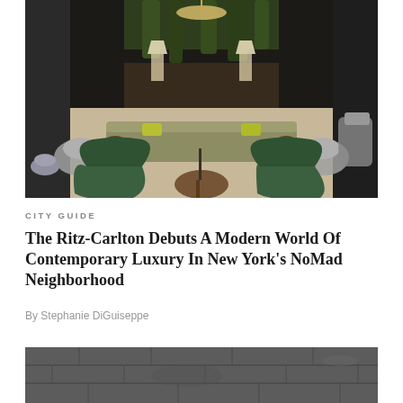[Figure (photo): Interior of a luxury hotel lounge with green velvet armchairs in the foreground, a long curved sofa in the center, accent chairs and tables throughout, lamps on a bar counter, and lush hanging greenery on the back wall. Warm lighting and neutral carpet.]
CITY GUIDE
The Ritz-Carlton Debuts A Modern World Of Contemporary Luxury In New York's NoMad Neighborhood
By Stephanie DiGuiseppe
[Figure (photo): Partial view of a dark stone or concrete textured wall, shown in black and white or very desaturated tones.]